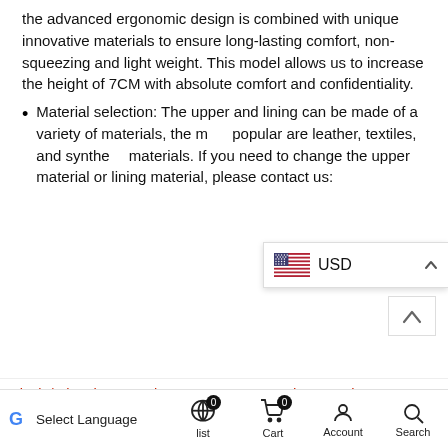the advanced ergonomic design is combined with unique innovative materials to ensure long-lasting comfort, non-squeezing and light weight. This model allows us to increase the height of 7CM with absolute comfort and confidentiality.
Material selection: The upper and lining can be made of a variety of materials, the most popular are leather, textiles, and synthetic materials. If you need to change the upper material or lining material, please contact us:
Black / The shoe runs large, We recommend you to choo...
[Figure (screenshot): Currency selector overlay showing US flag and USD label with chevron up arrow]
ADD TO CART button with quantity selector showing minus, 1, plus
Select Language | list 0 | Cart 0 | Account | Search